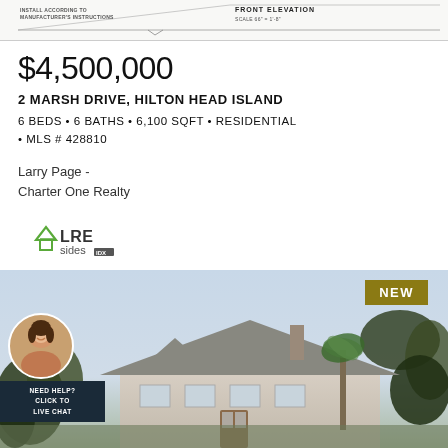[Figure (schematic): Blueprint/floor plan partial top image with text 'INSTALL ACCORDING TO MANUFACTURER'S INSTRUCTIONS' and 'SCALE 66 = 1-8']
$4,500,000
2 MARSH DRIVE, HILTON HEAD ISLAND
6 BEDS • 6 BATHS • 6,100 SQFT • RESIDENTIAL • MLS # 428810
Larry Page -
Charter One Realty
[Figure (logo): LREsides IDX logo with green house icon]
[Figure (photo): Exterior photo of large residential home with trees, sky background, and NEW badge in gold. Live chat widget with agent photo in bottom left corner.]